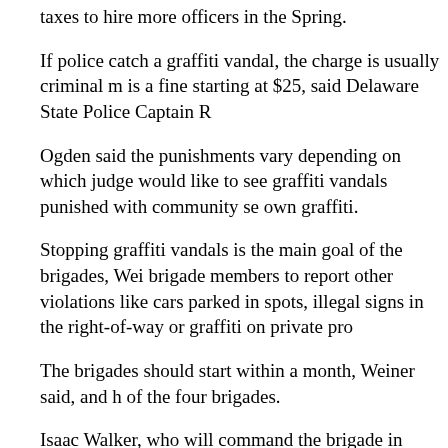taxes to hire more officers in the Spring.
If police catch a graffiti vandal, the charge is usually criminal m is a fine starting at $25, said Delaware State Police Captain R
Ogden said the punishments vary depending on which judge would like to see graffiti vandals punished with community se own graffiti.
Stopping graffiti vandals is the main goal of the brigades, Wei brigade members to report other violations like cars parked in spots, illegal signs in the right-of-way or graffiti on private pro
The brigades should start within a month, Weiner said, and h of the four brigades.
Isaac Walker, who will command the brigade in Greenville, sa he was approached by a New Castle County police officer wh graffiti on one of the Route 52 overpasses in Greenville.
"I thought I was going to be arrested," he said.
Instead, the officer invited Walker to join one of the brigades a be a captain.